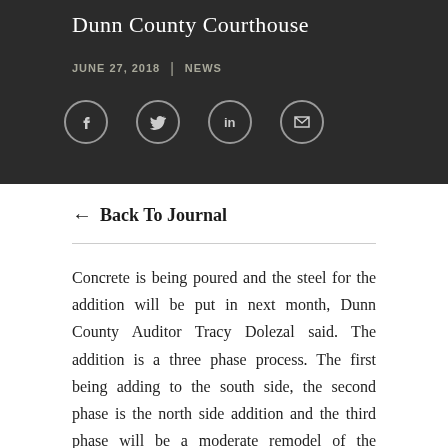Dunn County Courthouse
JUNE 27, 2018 | NEWS
[Figure (other): Social media share icons: Facebook, Twitter, LinkedIn, Email]
← Back To Journal
Concrete is being poured and the steel for the addition will be put in next month, Dunn County Auditor Tracy Dolezal said. The addition is a three phase process. The first being adding to the south side, the second phase is the north side addition and the third phase will be a moderate remodel of the existing areas, according to the North Dakota Supreme Court website. The first phase of the project add block...